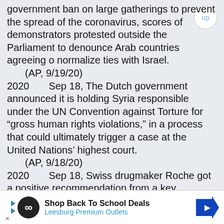government ban on large gatherings to prevent the spread of the coronavirus, scores of demonstrators protested outside the Parliament to denounce Arab countries agreeing o normalize ties with Israel.
    (AP, 9/19/20)
2020    Sep 18, The Dutch government announced it is holding Syria responsible under the UN Convention against Torture for “gross human rights violations,” in a process that could ultimately trigger a case at the United Nations’ highest court.
    (AP, 9/18/20)
2020    Sep 18, Swiss drugmaker Roche got a positive recommendation from a key European panel for its immunotherapy Tecentriq mixed with Avastin against liver cancer, likely clearing the way for the cocktail's approval in the coming months.
    (Reuters, 9/18/20)
2020    Sep 18, The UN Human Rights Council agreed to a resolution submitted by
[Figure (other): Advertisement bar: Shop Back To School Deals - Leesburg Premium Outlets with infinity logo and navigation arrow]